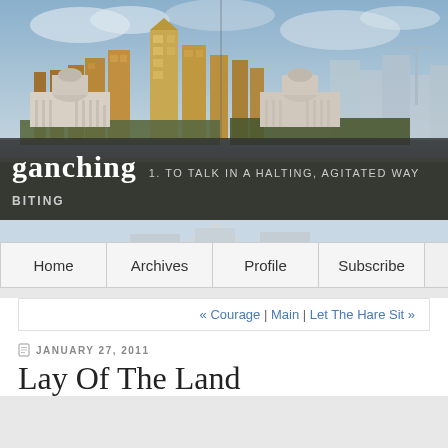[Figure (photo): London cityscape panorama showing Canary Wharf skyscrapers and classical buildings including what appears to be the Old Royal Naval College, viewed from Greenwich Park]
ganching   1. TO TALK IN A HALTING, AGITATED WAY 2. TA BITING
Home
Archives
Profile
Subscribe
« Courage | Main | Let The Hare Sit »
JANUARY 27, 2011
Lay Of The Land